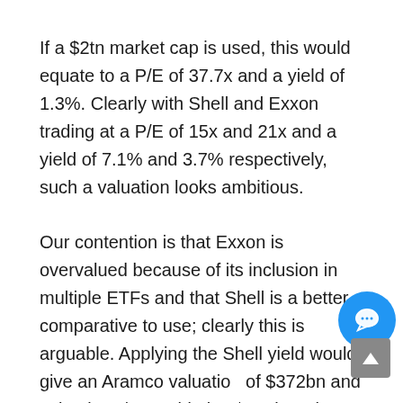If a $2tn market cap is used, this would equate to a P/E of 37.7x and a yield of 1.3%. Clearly with Shell and Exxon trading at a P/E of 15x and 21x and a yield of 7.1% and 3.7% respectively, such a valuation looks ambitious.
Our contention is that Exxon is overvalued because of its inclusion in multiple ETFs and that Shell is a better comparative to use; clearly this is arguable. Applying the Shell yield would give an Aramco valuation of $372bn and using its P/E would give $784bn. There is a plausible argument that